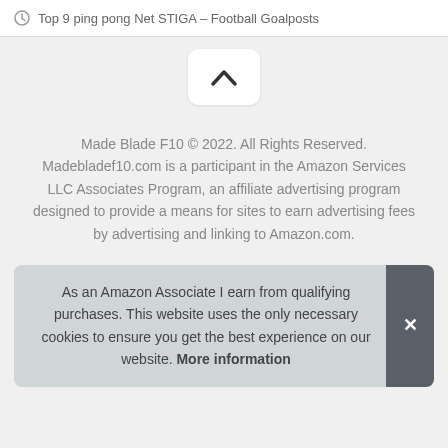Top 9 ping pong Net STIGA – Football Goalposts
[Figure (other): Back to top button with upward chevron arrow on white rounded rectangle]
Made Blade F10 © 2022. All Rights Reserved. Madebladef10.com is a participant in the Amazon Services LLC Associates Program, an affiliate advertising program designed to provide a means for sites to earn advertising fees by advertising and linking to Amazon.com.
As an Amazon Associate I earn from qualifying purchases. This website uses the only necessary cookies to ensure you get the best experience on our website. More information